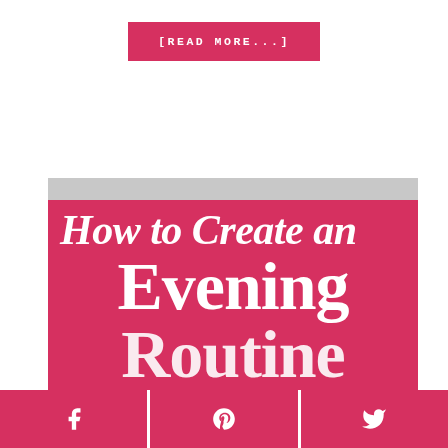[READ MORE...]
[Figure (illustration): Blog post thumbnail image with pink/red background and script/serif text reading 'How to Create an Evening Routine']
[Figure (infographic): Social sharing bar with Facebook, Pinterest, and Twitter icons]